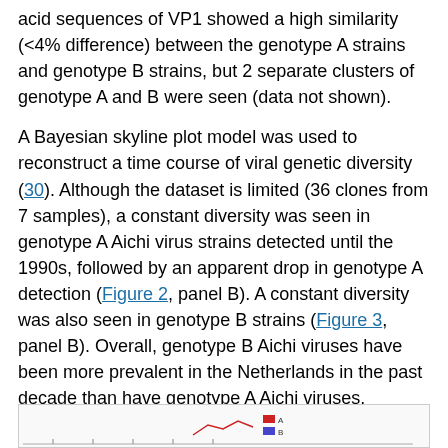acid sequences of VP1 showed a high similarity (<4% difference) between the genotype A strains and genotype B strains, but 2 separate clusters of genotype A and B were seen (data not shown).
A Bayesian skyline plot model was used to reconstruct a time course of viral genetic diversity (30). Although the dataset is limited (36 clones from 7 samples), a constant diversity was seen in genotype A Aichi virus strains detected until the 1990s, followed by an apparent drop in genotype A detection (Figure 2, panel B). A constant diversity was also seen in genotype B strains (Figure 3, panel B). Overall, genotype B Aichi viruses have been more prevalent in the Netherlands in the past decade than have genotype A Aichi viruses.
[Figure (other): Partial view of a figure (chart/graph) at the bottom of the page, cropped]